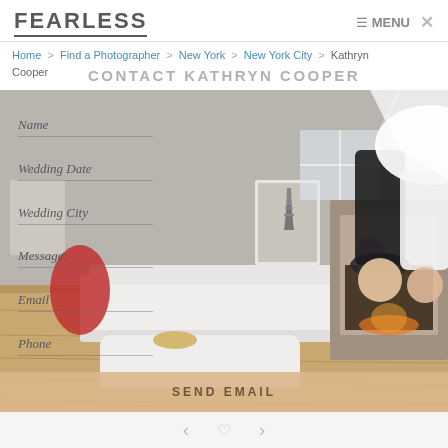FEARLESS    ≡ MENU ✕
Home > Find a Photographer > New York > New York City > Kathryn Cooper
CONTACT KATHRYN COOPER
[Figure (photo): Upside-down photo of a bride and groom hanging from ceiling in a modern living room with white sofa, fireplace, and Eiffel Tower artwork. Form fields overlaid: Name, Wedding Date, Wedding City, Message, Email, Phone. Send Email button at bottom.]
SEND EMAIL